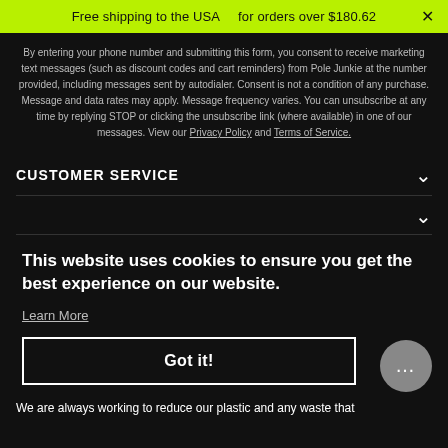Free shipping to the USA   for orders over $180.62  ×
By entering your phone number and submitting this form, you consent to receive marketing text messages (such as discount codes and cart reminders) from Pole Junkie at the number provided, including messages sent by autodialer. Consent is not a condition of any purchase. Message and data rates may apply. Message frequency varies. You can unsubscribe at any time by replying STOP or clicking the unsubscribe link (where available) in one of our messages. View our Privacy Policy and Terms of Service.
CUSTOMER SERVICE
This website uses cookies to ensure you get the best experience on our website.
Learn More
Got it!
We are always working to reduce our plastic and any waste that